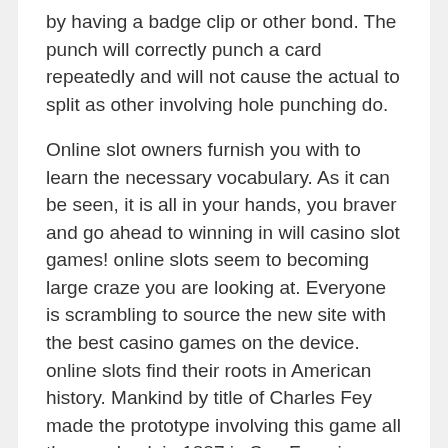by having a badge clip or other bond. The punch will correctly punch a card repeatedly and will not cause the actual to split as other involving hole punching do.
Online slot owners furnish you with to learn the necessary vocabulary. As it can be seen, it is all in your hands, you braver and go ahead to winning in will casino slot games! online slots seem to becoming large craze you are looking at. Everyone is scrambling to source the new site with the best casino games on the device. online slots find their roots in American history. Mankind by title of Charles Fey made the prototype involving this game all the way back in 1887 in San Francisco, California.